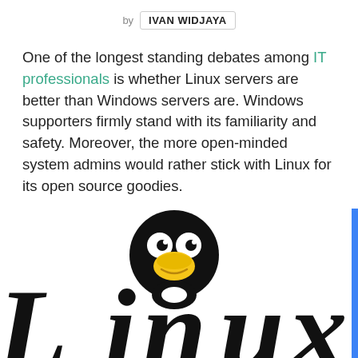by IVAN WIDJAYA
One of the longest standing debates among IT professionals is whether Linux servers are better than Windows servers are. Windows supporters firmly stand with its familiarity and safety. Moreover, the more open-minded system admins would rather stick with Linux for its open source goodies.
[Figure (logo): Linux logo with Tux the penguin mascot sitting above large stylized black 'Linux' text]